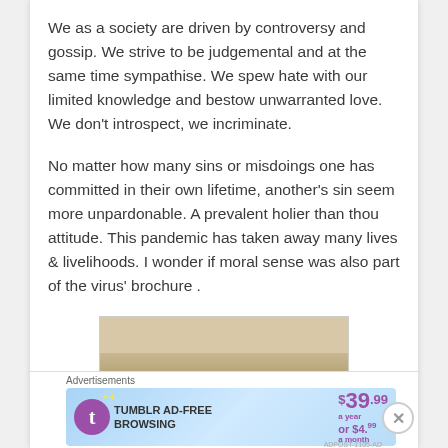We as a society are driven by controversy and gossip. We strive to be judgemental and at the same time sympathise. We spew hate with our limited knowledge and bestow unwarranted love. We don’t introspect, we incriminate.
No matter how many sins or misdoings one has committed in their own lifetime, another’s sin seem more unpardonable. A prevalent holier than thou attitude. This pandemic has taken away many lives & livelihoods. I wonder if moral sense was also part of the virus’ brochure .
[Figure (photo): Partial beige/tan colored image, partially visible at bottom of content area]
Advertisements
[Figure (screenshot): Tumblr Ad-Free Browsing advertisement banner: $39.99 a year or $4.99 a month]